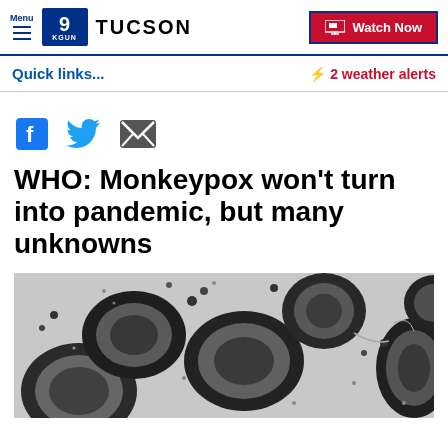Menu | 9 KGUN TUCSON | Watch Now
Quick links...
⚡ 2 weather alerts
[Figure (other): Social media share icons: Facebook, Twitter, Email]
WHO: Monkeypox won't turn into pandemic, but many unknowns
[Figure (photo): Electron microscope image of monkeypox virus particles, shown in black and white, with oval-shaped viral particles visible]